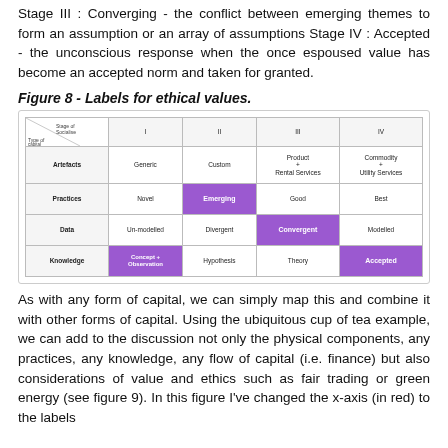Stage III : Converging - the conflict between emerging themes to form an assumption or an array of assumptions Stage IV : Accepted - the unconscious response when the once espoused value has become an accepted norm and taken for granted.
Figure 8 - Labels for ethical values.
[Figure (table-as-image): A grid table showing stages of ethical values (I, II, III, IV) on columns and types of capital (Artefacts, Practices, Data, Knowledge) on rows, with some cells highlighted in purple indicating current stage labels.]
As with any form of capital, we can simply map this and combine it with other forms of capital. Using the ubiquitous cup of tea example, we can add to the discussion not only the physical components, any practices, any knowledge, any flow of capital (i.e. finance) but also considerations of value and ethics such as fair trading or green energy (see figure 9). In this figure I've changed the x-axis (in red) to the labels